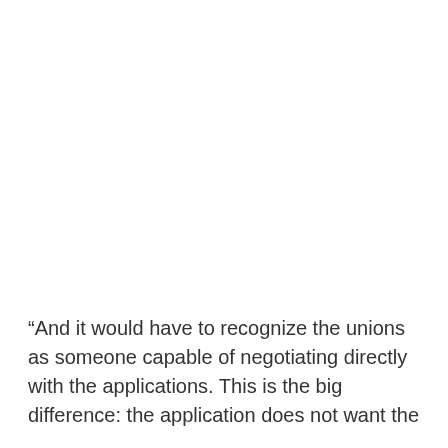“And it would have to recognize the unions as someone capable of negotiating directly with the applications. This is the big difference: the application does not want the